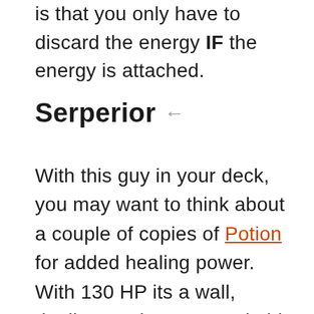is that you only have to discard the energy IF the energy is attached.
Serperior ←
With this guy in your deck, you may want to think about a couple of copies of Potion for added healing power. With 130 HP its a wall, dealing 60 damage, and able to shift that Rainbow over to a Pokémon that needs it (without damaging it of course) is also an added bonus.